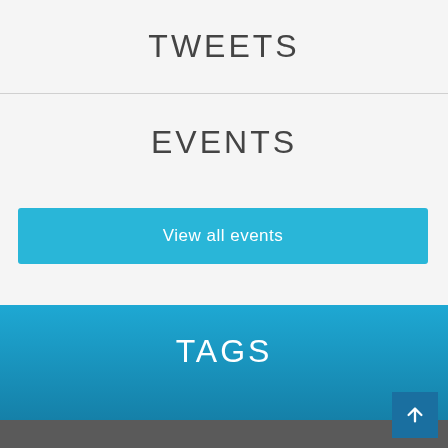TWEETS
EVENTS
View all events
TAGS